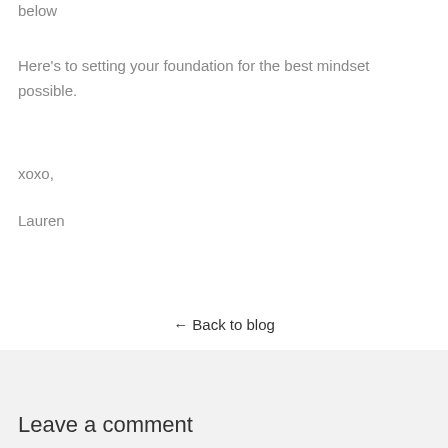below
Here's to setting your foundation for the best mindset possible.
xoxo,
Lauren
← Back to blog
Leave a comment